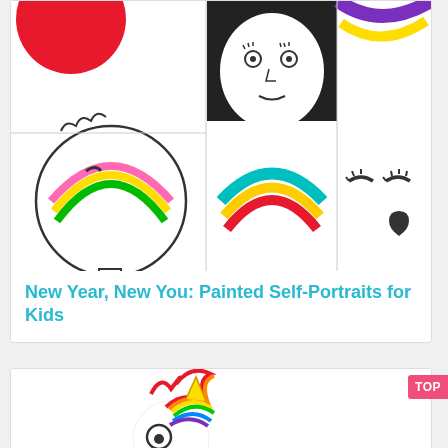[Figure (illustration): Collage of three children's self-portrait drawings featuring rainbow motifs, cartoon faces with expressive features in colorful crayon and paint styles]
New Year, New You: Painted Self-Portraits for Kids
[Figure (illustration): Children's artwork showing colorful unicorn-style drawings with rainbow colors on white background, partially visible]